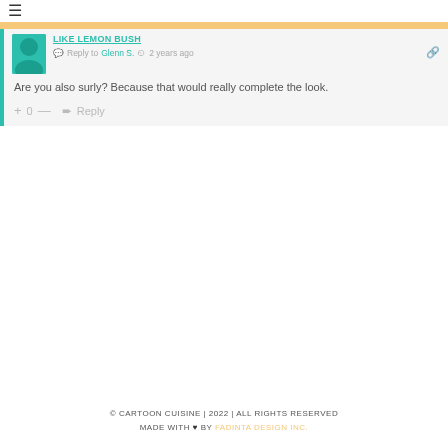≡
Reply to Glenn S. · 2 years ago
Are you also surly? Because that would really complete the look.
+ 0 — ➥ Reply
© CARTOON CUISINE | 2022 | ALL RIGHTS RESERVED
MADE WITH ♥ BY FADINTA DESIGN INC.